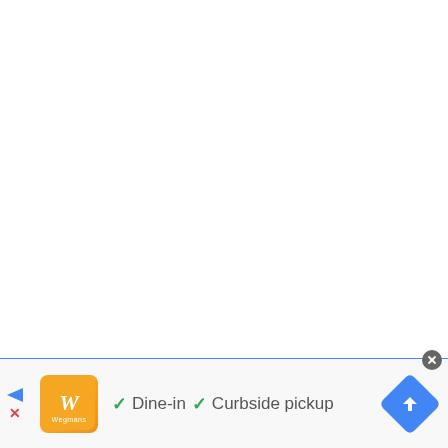[Figure (screenshot): White empty area representing the main content region of a webpage]
[Figure (screenshot): Banner advertisement/info strip showing Wegmans logo with 'Dine-in' and 'Curbside pickup' options with green checkmarks, a close button, navigation icon, and a blue directions diamond button]